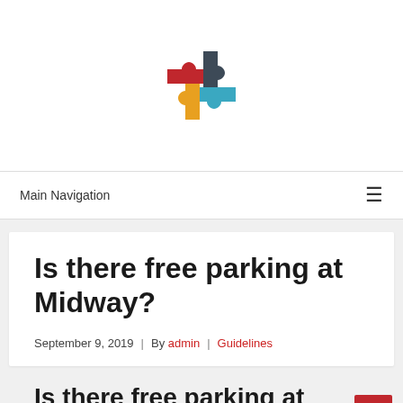[Figure (logo): Colorful puzzle piece logo in a circular arrangement — red, dark gray, teal/blue, and orange/yellow pieces]
Main Navigation  ☰
Is there free parking at Midway?
September 9, 2019  |  By admin  |  Guidelines
Is there free parking at Midway?